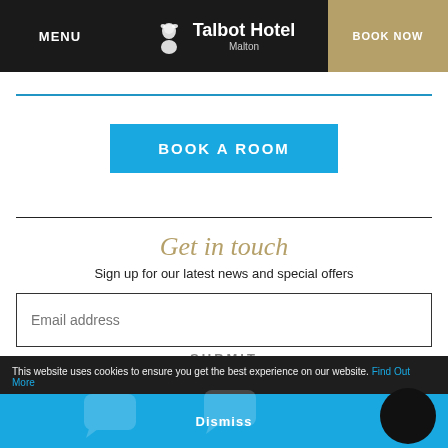MENU | Talbot Hotel Malton | BOOK NOW
BOOK A ROOM
Get in touch
Sign up for our latest news and special offers
Email address
SUBMIT
This website uses cookies to ensure you get the best experience on our website. Find Out More
Dismiss
Chat to our online team...